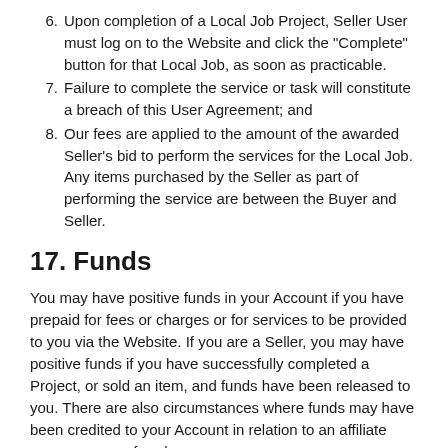6. Upon completion of a Local Job Project, Seller User must log on to the Website and click the "Complete" button for that Local Job, as soon as practicable.
7. Failure to complete the service or task will constitute a breach of this User Agreement; and
8. Our fees are applied to the amount of the awarded Seller's bid to perform the services for the Local Job. Any items purchased by the Seller as part of performing the service are between the Buyer and Seller.
17. Funds
You may have positive funds in your Account if you have prepaid for fees or charges or for services to be provided to you via the Website. If you are a Seller, you may have positive funds if you have successfully completed a Project, or sold an item, and funds have been released to you. There are also circumstances where funds may have been credited to your Account in relation to an affiliate program or a referral program.
Funds in your Account are held by us in our operating accounts held with financial institutions. Funds in your Account are not held separately by us, and may be commingled with our general operating funds, and/or funds of other User's Accounts.
You are not entitled to any interest, or other earnings for funds